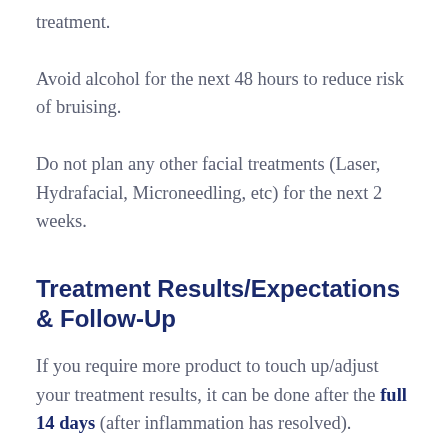treatment.
Avoid alcohol for the next 48 hours to reduce risk of bruising.
Do not plan any other facial treatments (Laser, Hydrafacial, Microneedling, etc) for the next 2 weeks.
Treatment Results/Expectations & Follow-Up
If you require more product to touch up/adjust your treatment results, it can be done after the full 14 days (after inflammation has resolved).